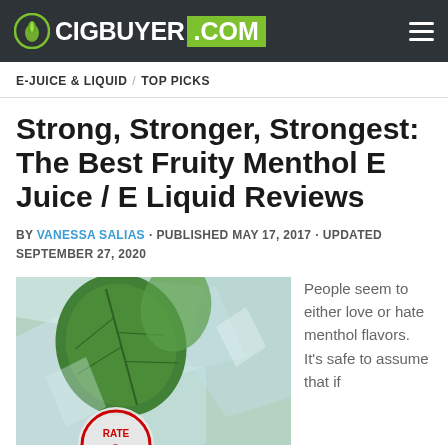CIGBUYER.COM
E-JUICE & LIQUID / TOP PICKS
Strong, Stronger, Strongest: The Best Fruity Menthol E Juice / E Liquid Reviews
BY VANESSA SALIAS · PUBLISHED MAY 17, 2017 · UPDATED SEPTEMBER 27, 2020
[Figure (photo): Close-up photo of fresh mint leaves with ice cubes, with a circular badge partially visible at the bottom]
People seem to either love or hate menthol flavors. It's safe to assume that if